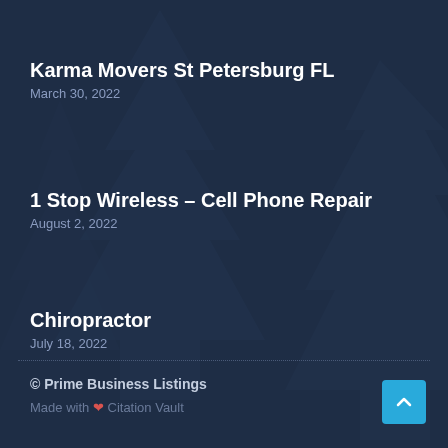Karma Movers St Petersburg FL
March 30, 2022
1 Stop Wireless – Cell Phone Repair
August 2, 2022
Chiropractor
July 18, 2022
© Prime Business Listings
Made with ❤ Citation Vault